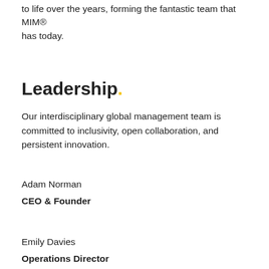to life over the years, forming the fantastic team that MIM® has today.
Leadership.
Our interdisciplinary global management team is committed to inclusivity, open collaboration, and persistent innovation.
Adam Norman
CEO & Founder
Emily Davies
Operations Director